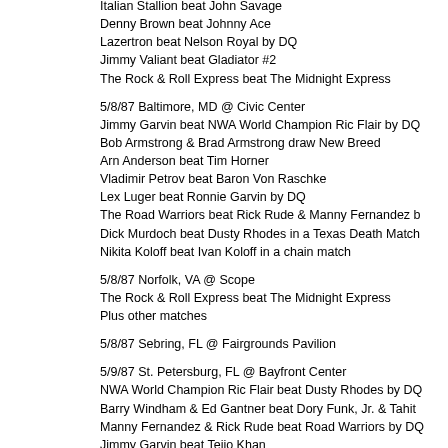Italian Stallion beat John Savage
Denny Brown beat Johnny Ace
Lazertron beat Nelson Royal by DQ
Jimmy Valiant beat Gladiator #2
The Rock & Roll Express beat The Midnight Express
5/8/87 Baltimore, MD @ Civic Center
Jimmy Garvin beat NWA World Champion Ric Flair by DQ
Bob Armstrong & Brad Armstrong draw New Breed
Arn Anderson beat Tim Horner
Vladimir Petrov beat Baron Von Raschke
Lex Luger beat Ronnie Garvin by DQ
The Road Warriors beat Rick Rude & Manny Fernandez b
Dick Murdoch beat Dusty Rhodes in a Texas Death Match
Nikita Koloff beat Ivan Koloff in a chain match
5/8/87 Norfolk, VA @ Scope
The Rock & Roll Express beat The Midnight Express
Plus other matches
5/8/87 Sebring, FL @ Fairgrounds Pavilion
5/9/87 St. Petersburg, FL @ Bayfront Center
NWA World Champion Ric Flair beat Dusty Rhodes by DQ
Barry Windham & Ed Gantner beat Dory Funk, Jr. & Tahit
Manny Fernandez & Rick Rude beat Road Warriors by DQ
Jimmy Garvin beat Teijo Khan
Mike Rotundo beat Kevin Sullivan
Mike Graham beat Dory Funk, Jr.
Bob Armstrong & Brad Armstrong beat The Mod Squad
Jimmy Valiant beat Colt Steele
5/9/87 Charlotte, NC @ Coliseum
Ronnie Garvin beat Jim Cornette in a cage match
The Rock & Roll Express beat Vladimir Petrov & Dick Mu
Nikita Koloff beat Lex Luger by DQ
Tully Blanchard beat Ole Anderson